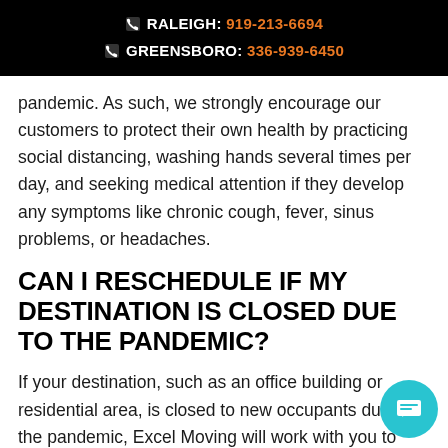RALEIGH: 919-213-6694
GREENSBORO: 336-939-6450
pandemic. As such, we strongly encourage our customers to protect their own health by practicing social distancing, washing hands several times per day, and seeking medical attention if they develop any symptoms like chronic cough, fever, sinus problems, or headaches.
CAN I RESCHEDULE IF MY DESTINATION IS CLOSED DUE TO THE PANDEMIC?
If your destination, such as an office building or residential area, is closed to new occupants due to the pandemic, Excel Moving will work with you to reschedule your move at a time most convenient